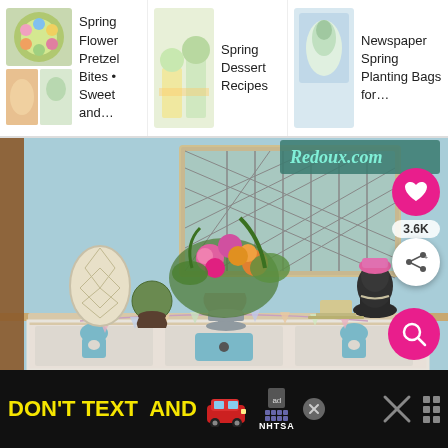[Figure (screenshot): Website navigation bar showing three items: 'Spring Flower Pretzel Bites • Sweet and...' with a colorful floral image thumbnail, 'Spring Dessert Recipes' with a pastel dessert image thumbnail, and 'Newspaper Spring Planting Bags for...' with a white floral/plant image thumbnail, all on a white background.]
[Figure (photo): Interior home decor photo showing a vintage white distressed sideboard/buffet with blue painted accents shaped like decorative keyhole motifs. On top sits a vintage leaded glass window frame, a decorative egg-shaped ornament, a small topiary, a silver urn vase filled with colorful spring flowers (pink, orange, green), a small decorated display piece, and a dark bust sculpture. The wall behind is painted light blue/mint. A sign reading 'Redoux.com' is visible in the top right corner. Pink and white bunting garland hangs from the front of the buffet. The website has Pinterest-style action buttons: a pink heart/like button, a share button, and counts showing 3.6K likes.]
[Figure (screenshot): Black advertisement banner at the bottom reading 'DON'T TEXT AND' in yellow and cyan bold text, with a red car emoji, an 'ad' label box, NHTSA logo text, a close X button, and a weather/app icon on the right side.]